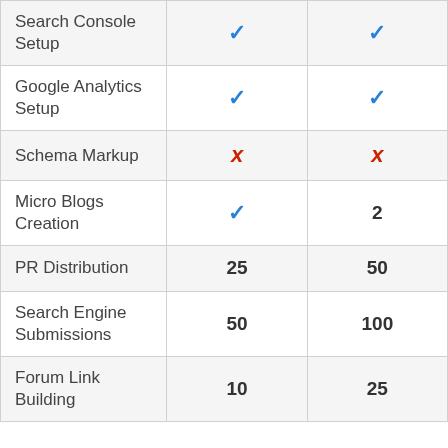| Feature | Plan 1 | Plan 2 |
| --- | --- | --- |
| Search Console Setup | ✓ | ✓ |
| Google Analytics Setup | ✓ | ✓ |
| Schema Markup | ✗ | ✗ |
| Micro Blogs Creation | ✓ | 2 |
| PR Distribution | 25 | 50 |
| Search Engine Submissions | 50 | 100 |
| Forum Link Building | 10 | 25 |